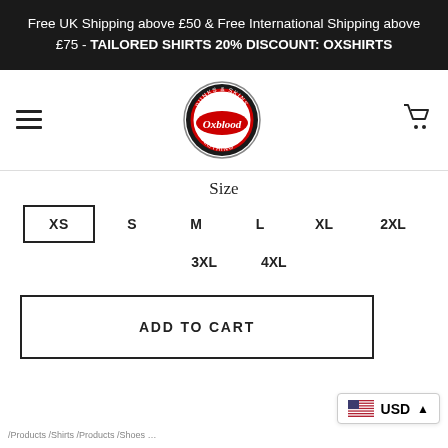Free UK Shipping above £50 & Free International Shipping above £75 - TAILORED SHIRTS 20% DISCOUNT: OXSHIRTS
[Figure (logo): Oxblood Punks & Skins Clothing circular logo with red script lettering]
Size
XS (selected), S, M, L, XL, 2XL
3XL, 4XL
ADD TO CART
USD